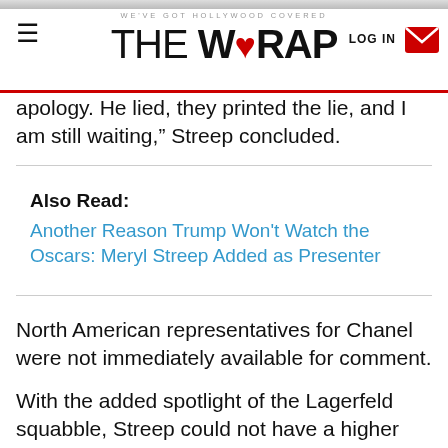WE'VE GOT HOLLYWOOD COVERED — THE WRAP
apology. He lied, they printed the lie, and I am still waiting,” Streep concluded.
Also Read: Another Reason Trump Won't Watch the Oscars: Meryl Streep Added as Presenter
North American representatives for Chanel were not immediately available for comment.
With the added spotlight of the Lagerfeld squabble, Streep could not have a higher profile walking into the show.